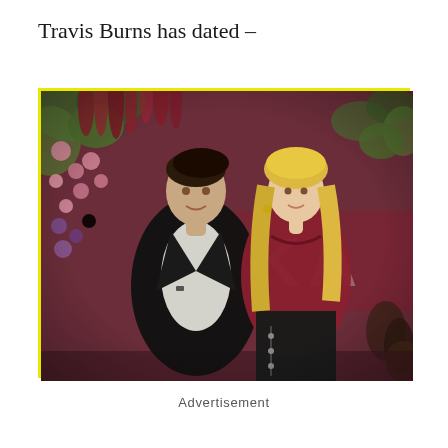Travis Burns has dated –
[Figure (photo): A man and a woman posing together in front of a floral wall backdrop. The man is wearing a black leather jacket over a white shirt with dark hair pulled back. The woman has long blonde hair and is wearing a red floral long-sleeve top with a black corset-style skirt. Letters 'K A' are partially visible on a dark red sign behind them.]
Advertisement